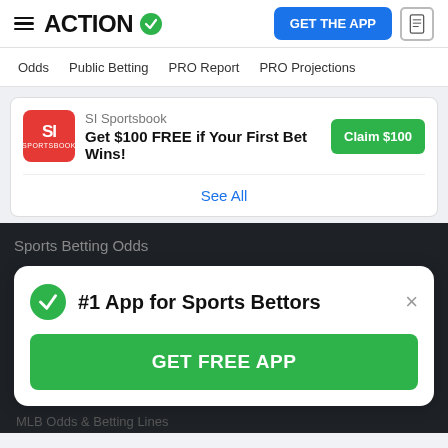ACTION | GET THE APP
Odds | Public Betting | PRO Report | PRO Projections
[Figure (screenshot): SI Sportsbook promo ad: Get $100 FREE if Your First Bet Wins! with Claim $100 button]
See All
Sports Betting Odds
#1 App for Sports Bettors
GET FREE APP
MLB Odds & Betting Lines